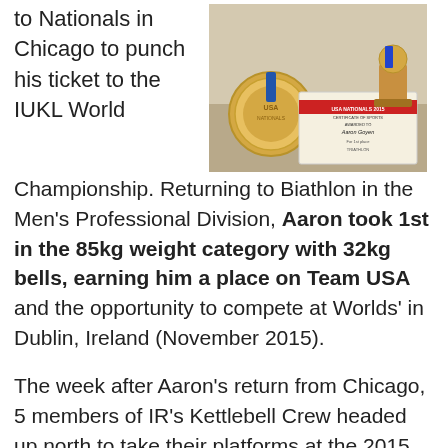to Nationals in Chicago to punch his ticket to the IUKL World
[Figure (photo): A USA Nationals 2015 certificate of sports medal and trophy on a table, awarded to Aaron Goyen]
Championship. Returning to Biathlon in the Men's Professional Division, Aaron took 1st in the 85kg weight category with 32kg bells, earning him a place on Team USA and the opportunity to compete at Worlds' in Dublin, Ireland (November 2015).
The week after Aaron's return from Chicago, 5 members of IR's Kettlebell Crew headed up north to take their platforms at the 2015